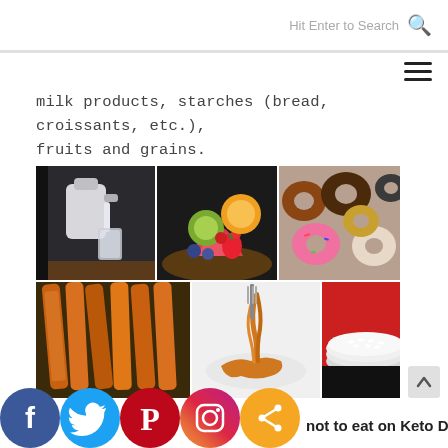Hit Enter to Search
milk products, starches (bread, croissants, etc.), fruits and grains.
[Figure (photo): Collage of foods not to eat on Keto Diet: milk being poured into glass, bowl of mixed fruits, assorted donuts, grilled corn, pasta noodles being lifted with fork, bowl of white rice]
not to eat on Keto Diet
[Figure (infographic): Social media sharing icons: Facebook (blue), Twitter (light blue), Pinterest (red), Instagram (gradient purple/pink), Share (orange)]